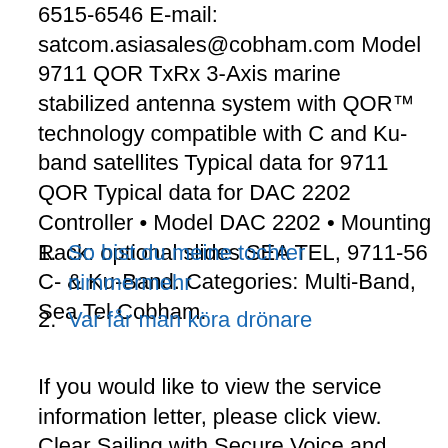6515-6546 E-mail: satcom.asiasales@cobham.com Model 9711 QOR TxRx 3-Axis marine stabilized antenna system with QOR™ technology compatible with C and Ku-band satellites Typical data for 9711 QOR Typical data for DAC 2202 Controller • Model DAC 2202 • Mounting Rack: optional slides SEA TEL, 9711-56 C- & Ku-Band. Categories: Multi-Band, Sea Tel Cobham.
1. So bist du meine tochter nimmermehr
2. Var får man köra drönare
If you would like to view the service information letter, please click view. Clear Sailing with Secure Voice and Data Communications. Iridium solutions ensure governments and agencies have access to secure, reliable communications. De Ocean Signal